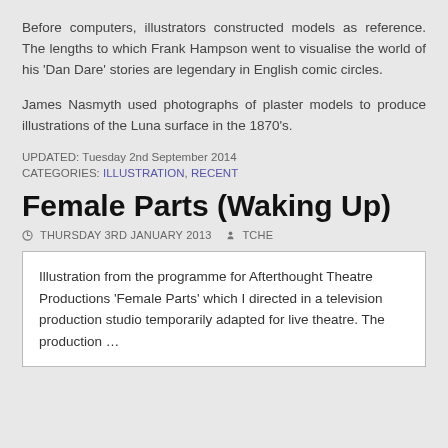Before computers, illustrators constructed models as reference. The lengths to which Frank Hampson went to visualise the world of his 'Dan Dare' stories are legendary in English comic circles.
James Nasmyth used photographs of plaster models to produce illustrations of the Luna surface in the 1870's.
UPDATED: Tuesday 2nd September 2014
CATEGORIES: ILLUSTRATION, RECENT
Female Parts (Waking Up)
THURSDAY 3RD JANUARY 2013  TCHE
Illustration from the programme for Afterthought Theatre Productions 'Female Parts' which I directed in a television production studio temporarily adapted for live theatre. The production …